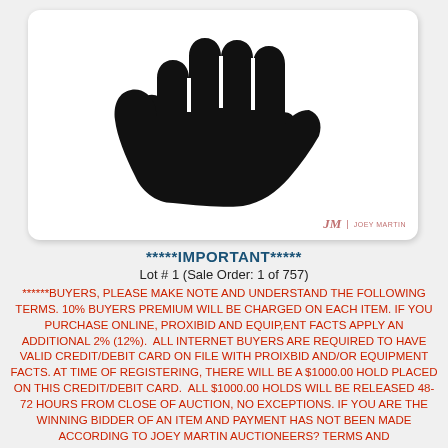[Figure (illustration): Black silhouette of a raised hand (stop/halt gesture) on a white rounded rectangle card with a Joey Martin logo in the bottom right corner.]
*****IMPORTANT*****
Lot # 1 (Sale Order: 1 of 757)
******BUYERS, PLEASE MAKE NOTE AND UNDERSTAND THE FOLLOWING TERMS. 10% BUYERS PREMIUM WILL BE CHARGED ON EACH ITEM. IF YOU PURCHASE ONLINE, PROXIBID AND EQUIP,ENT FACTS APPLY AN ADDITIONAL 2% (12%).  ALL INTERNET BUYERS ARE REQUIRED TO HAVE VALID CREDIT/DEBIT CARD ON FILE WITH PROIXBID AND/OR EQUIPMENT FACTS. AT TIME OF REGISTERING, THERE WILL BE A $1000.00 HOLD PLACED ON THIS CREDIT/DEBIT CARD.  ALL $1000.00 HOLDS WILL BE RELEASED 48-72 HOURS FROM CLOSE OF AUCTION, NO EXCEPTIONS. IF YOU ARE THE WINNING BIDDER OF AN ITEM AND PAYMENT HAS NOT BEEN MADE ACCORDING TO JOEY MARTIN AUCTIONEERS? TERMS AND